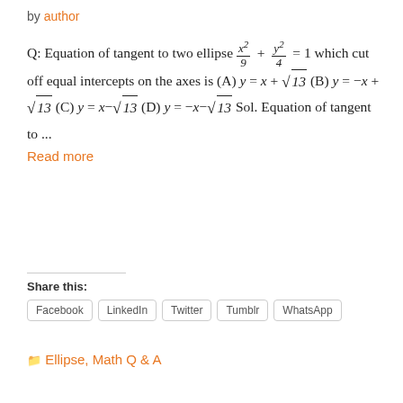by author
Q: Equation of tangent to two ellipse x²/9 + y²/4 = 1 which cut off equal intercepts on the axes is (A) y = x + √13 (B) y = -x + √13 (C) y = x-√13 (D) y = -x-√13 Sol. Equation of tangent to ...
Read more
Share this:
Facebook  LinkedIn  Twitter  Tumblr  WhatsApp
Ellipse, Math Q & A